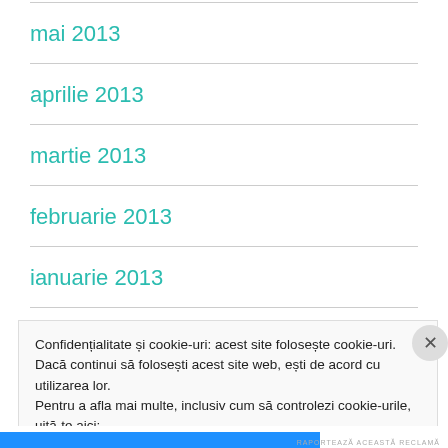mai 2013
aprilie 2013
martie 2013
februarie 2013
ianuarie 2013
Confidențialitate și cookie-uri: acest site folosește cookie-uri. Dacă continui să folosești acest site web, ești de acord cu utilizarea lor.
Pentru a afla mai multe, inclusiv cum să controlezi cookie-urile, uită-te aici:
Politică cookie-uri
Închide și acceptă
RAPORTEAZĂ ACEASTĂ RECLAMĂ